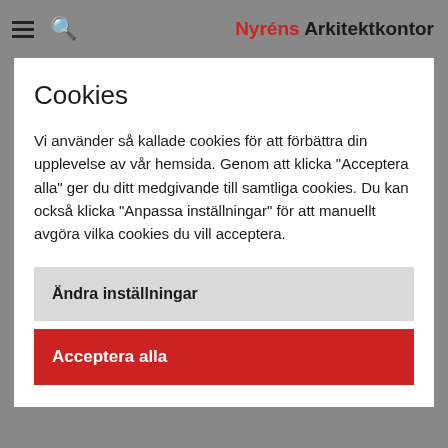Nyréns Arkitektkontor
Cookies
Vi använder så kallade cookies för att förbättra din upplevelse av vår hemsida. Genom att klicka "Acceptera alla" ger du ditt medgivande till samtliga cookies. Du kan också klicka "Anpassa inställningar" för att manuellt avgöra vilka cookies du vill acceptera.
Ändra inställningar
Acceptera alla